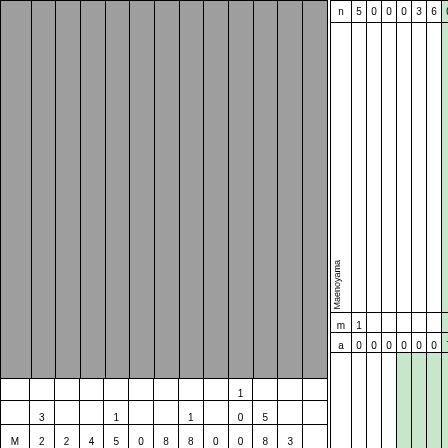| n | 5 | 0 | 0 | 0 | 3 | 6 | 0 | 0 |
| Maenoyama | 1 | 0 | 0 | 0 | 0 | 0 | 0 | 7 | 1 |
| Kiyokuni | 2 | 8 | 0 | 0 | 1 | 2 | 3 | 5 | 1/2 | 1 |
| M | 3/2 | 2 | 4 | 5 | 0 | 8 | 8 | 0 |  | 1/0 | 5/8 | 3 |
| M | 5 | 1 | 2 | 4 | 8 | 8 | 4 | 8 |